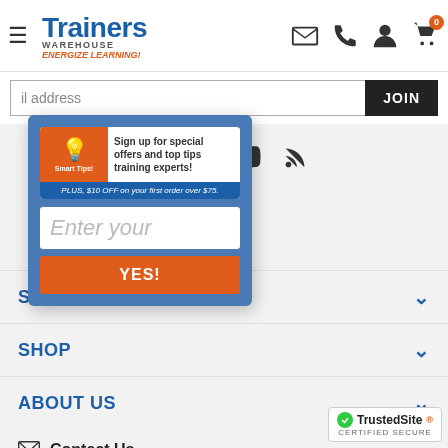Trainers Warehouse — ENERGIZE LEARNING!
Enter email address JOIN
[Figure (screenshot): Popup modal with Smart Tips offer. Contains card with light bulb icon and text 'Sign up for special offers and top tips training experts!', 'PLUS, $10 OFF on your first order over $75', an email input field 'Enter your', and a YES! button. Close X button in top right corner.]
Pinterest icon
LinkedIn icon
YouTube icon
RSS feed icon
SERVICE
SHOP
ABOUT US
Contact Us
800.299.3770
[Figure (logo): TrustedSite Certified Secure badge]